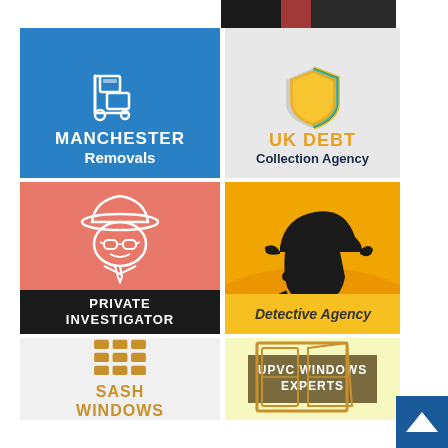[Figure (photo): Partial top strip photo, dark background]
[Figure (logo): Manchester Removals logo - blue background with trolley/boxes icon, text MANCHESTER Removals]
[Figure (logo): UK Debt Collection Agency logo - shield icon with gold/teal layers, text UK DEBT Collection Agency]
[Figure (logo): Private Investigator logo - cartoon detective with hat and glasses on coral/red background, black banner with PRIVATE INVESTIGATOR text]
[Figure (logo): Detective Agency logo - Sherlock Holmes silhouette on orange/yellow background with pipe, text Detective Agency]
[Figure (logo): Sash Windows logo - gold stacked bricks icon on light background, text SASH WINDOWS in gold]
[Figure (logo): UPVC Windows Experts logo - open window icon on pale yellow background, text UPVC WINDOWS EXPERTS]
[Figure (other): Back to top button - dark blue square with upward arrow]